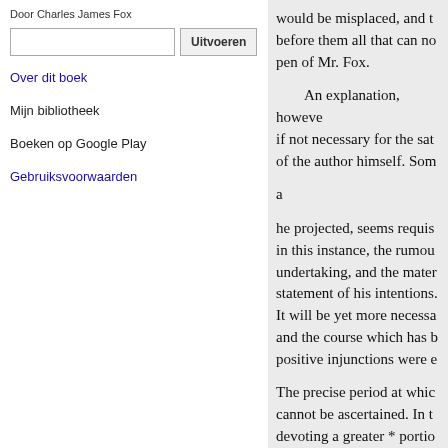Door Charles James Fox
Uitvoeren
Over dit boek
Mijn bibliotheek
Boeken op Google Play
Gebruiksvoorwaarden
would be misplaced, and t before them all that can no pen of Mr. Fox.
An explanation, howeve if not necessary for the sat of the author himself. Som
a
he projected, seems requis in this instance, the rumou undertaking, and the mater statement of his intentions. It will be yet more necessa and the course which has b positive injunctions were e
The precise period at whic cannot be ascertained. In t devoting a greater * portio point of relinquishing his s a plan which he had forme